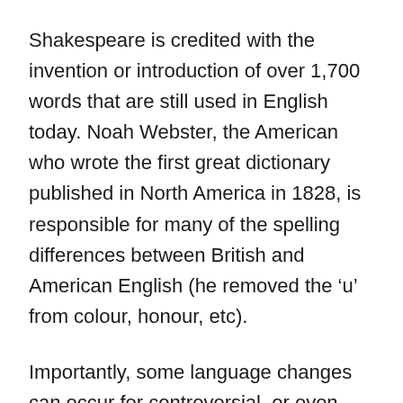Shakespeare is credited with the invention or introduction of over 1,700 words that are still used in English today. Noah Webster, the American who wrote the first great dictionary published in North America in 1828, is responsible for many of the spelling differences between British and American English (he removed the ‘u’ from colour, honour, etc).
Importantly, some language changes can occur for controversial, or even outright despicable, reasons. This has recently been highlighted in Germany. Germany has